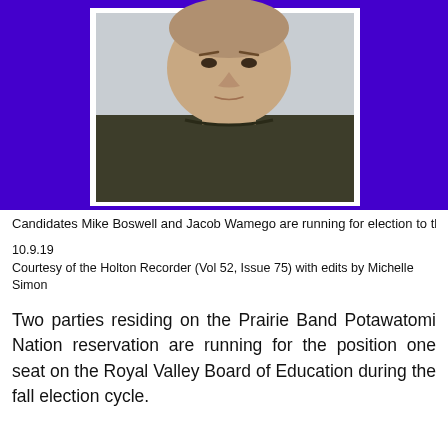[Figure (photo): Headshot photo of a person wearing a dark olive/green crew-neck shirt against a light background, shown from chest up. The photo is framed with a white border set against a bright purple/blue background.]
Candidates Mike Boswell and Jacob Wamego are running for election to th
10.9.19
Courtesy of the Holton Recorder (Vol 52, Issue 75) with edits by Michelle Simon
Two parties residing on the Prairie Band Potawatomi Nation reservation are running for the position one seat on the Royal Valley Board of Education during the fall election cycle.